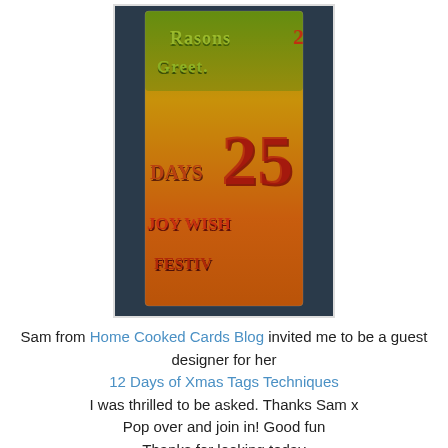[Figure (photo): A decorative Christmas card or tag with embossed metallic lettering showing 'Seasons Greetings 25 Days Joy Wish Festiv' in green, red, and gold colors on a dark background]
Sam from Home Cooked Cards Blog invited me to be a guest designer for her
12 Days of Xmas Tags Techniques
I was thrilled to be asked. Thanks Sam x
Pop over and join in! Good fun
Thanks for looking today